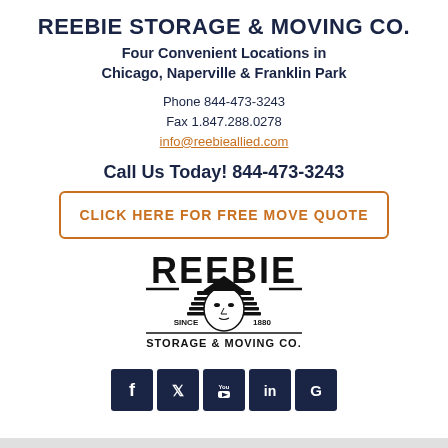REEBIE STORAGE & MOVING CO.
Four Convenient Locations in Chicago, Naperville & Franklin Park
Phone 844-473-3243
Fax 1.847.288.0278
info@reebieallied.com
Call Us Today! 844-473-3243
CLICK HERE FOR FREE MOVE QUOTE
[Figure (logo): Reebie Storage & Moving Co. logo with Egyptian pharaoh motif, 'SINCE 1880' text]
[Figure (infographic): Social media icons: Facebook, Twitter, YouTube, LinkedIn, Google]